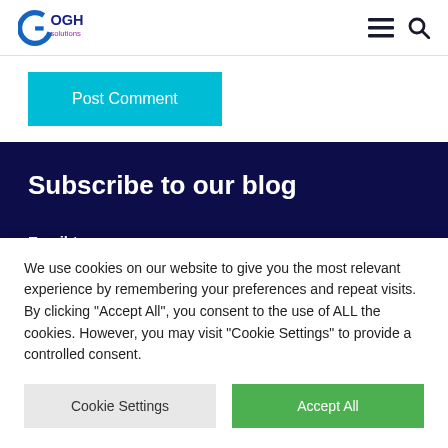GOGH solutions [logo] [hamburger menu] [search icon]
Post Comment
Subscribe to our blog
Email *
We use cookies on our website to give you the most relevant experience by remembering your preferences and repeat visits. By clicking "Accept All", you consent to the use of ALL the cookies. However, you may visit "Cookie Settings" to provide a controlled consent.
Cookie Settings  Accept All